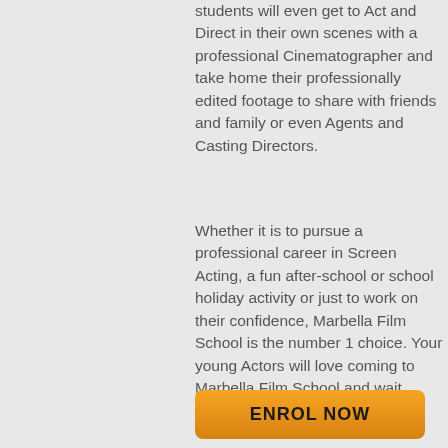students will even get to Act and Direct in their own scenes with a professional Cinematographer and take home their professionally edited footage to share with friends and family or even Agents and Casting Directors.
Whether it is to pursue a professional career in Screen Acting, a fun after-school or school holiday activity or just to work on their confidence, Marbella Film School is the number 1 choice. Your young Actors will love coming to Marbella Film School and wait anxiously for their next class.
ENROL NOW